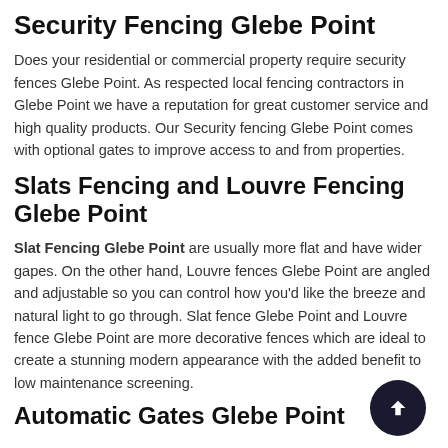Security Fencing Glebe Point
Does your residential or commercial property require security fences Glebe Point. As respected local fencing contractors in Glebe Point we have a reputation for great customer service and high quality products. Our Security fencing Glebe Point comes with optional gates to improve access to and from properties.
Slats Fencing and Louvre Fencing Glebe Point
Slat Fencing Glebe Point are usually more flat and have wider gapes. On the other hand, Louvre fences Glebe Point are angled and adjustable so you can control how you'd like the breeze and natural light to go through. Slat fence Glebe Point and Louvre fence Glebe Point are more decorative fences which are ideal to create a stunning modern appearance with the added benefit to low maintenance screening.
Automatic Gates Glebe Point